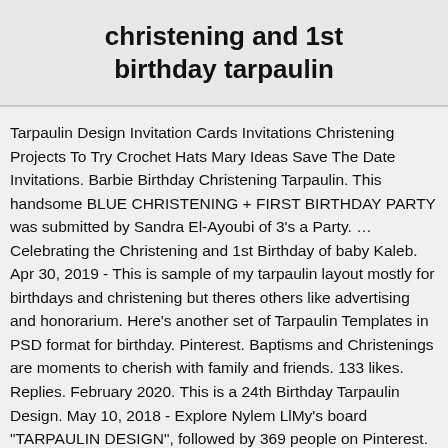christening and 1st birthday tarpaulin
Tarpaulin Design Invitation Cards Invitations Christening Projects To Try Crochet Hats Mary Ideas Save The Date Invitations. Barbie Birthday Christening Tarpaulin. This handsome BLUE CHRISTENING + FIRST BIRTHDAY PARTY was submitted by Sandra El-Ayoubi of 3's a Party. … Celebrating the Christening and 1st Birthday of baby Kaleb. Apr 30, 2019 - This is sample of my tarpaulin layout mostly for birthdays and christening but theres others like advertising and honorarium. Here's another set of Tarpaulin Templates in PSD format for birthday. Pinterest. Baptisms and Christenings are moments to cherish with family and friends. 133 likes. Replies. February 2020. This is a 24th Birthday Tarpaulin Design. May 10, 2018 - Explore Nylem LlMy's board "TARPAULIN DESIGN", followed by 369 people on Pinterest. Invite them with an invitation you can customize with our online Baptism & Christening invitation designs.